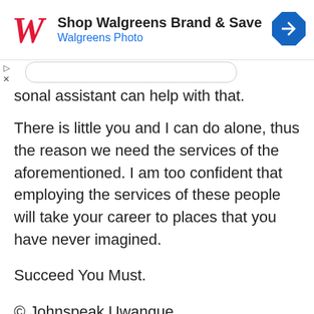[Figure (other): Walgreens advertisement banner with Walgreens script logo, text 'Shop Walgreens Brand & Save' and 'Walgreens Photo', and a blue diamond navigation icon on the right.]
sonal assistant can help with that.
There is little you and I can do alone, thus the reason we need the services of the aforementioned. I am too confident that employing the services of these people will take your career to places that you have never imagined.
Succeed You Must.
© Johnspeak Uwangue
Motivational Speaker, Talent Manager, and
Coach